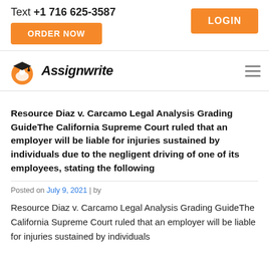Text +1 716 625-3587
LOGIN
ORDER NOW
[Figure (logo): Assignwrite logo — orange graduation cap with figure, black mortarboard on top, brand name 'Assignwrite' in bold italic]
Resource Diaz v. Carcamo Legal Analysis Grading GuideThe California Supreme Court ruled that an employer will be liable for injuries sustained by individuals due to the negligent driving of one of its employees, stating the following
Posted on July 9, 2021 | by
Resource Diaz v. Carcamo Legal Analysis Grading GuideThe California Supreme Court ruled that an employer will be liable for injuries sustained by individuals